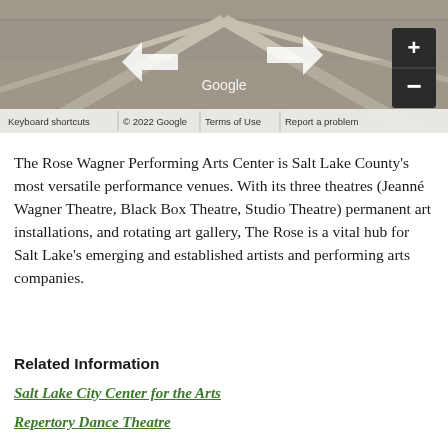[Figure (screenshot): Google Street View screenshot showing a road surface with navigation arrows and zoom controls. Bottom bar shows: Keyboard shortcuts | © 2022 Google | Terms of Use | Report a problem]
The Rose Wagner Performing Arts Center is Salt Lake County's most versatile performance venues. With its three theatres (Jeanné Wagner Theatre, Black Box Theatre, Studio Theatre) permanent art installations, and rotating art gallery, The Rose is a vital hub for Salt Lake's emerging and established artists and performing arts companies.
Related Information
Salt Lake City Center for the Arts
Repertory Dance Theatre